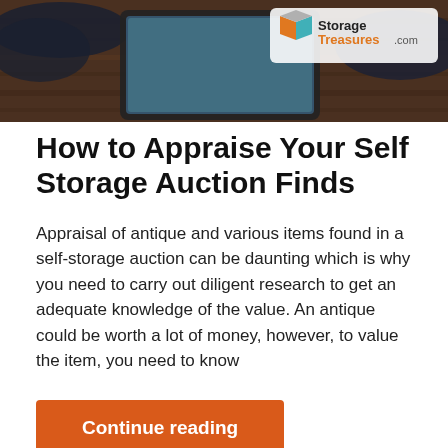[Figure (photo): Hero image showing hands on a wooden table with a tablet device, with StorageTreasures.com logo in the top right corner]
How to Appraise Your Self Storage Auction Finds
Appraisal of antique and various items found in a self-storage auction can be daunting which is why you need to carry out diligent research to get an adequate knowledge of the value. An antique could be worth a lot of money, however, to value the item, you need to know
Continue reading